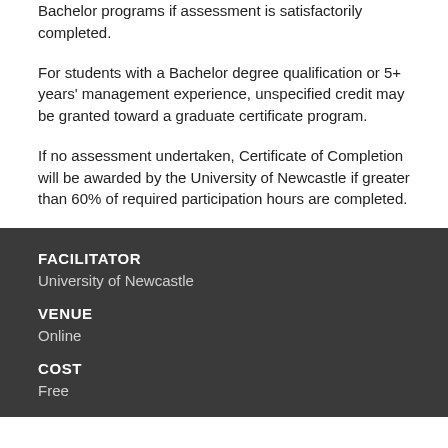Bachelor programs if assessment is satisfactorily completed.
For students with a Bachelor degree qualification or 5+ years' management experience, unspecified credit may be granted toward a graduate certificate program.
If no assessment undertaken, Certificate of Completion will be awarded by the University of Newcastle if greater than 60% of required participation hours are completed.
FACILITATOR
University of Newcastle
VENUE
Online
COST
Free